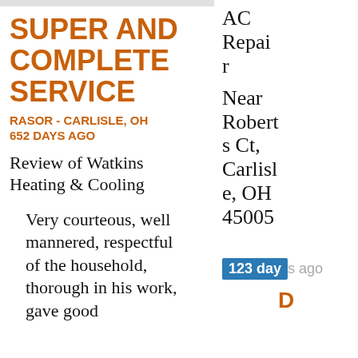SUPER AND COMPLETE SERVICE
RASOR - CARLISLE, OH
652 DAYS AGO
Review of Watkins Heating & Cooling
Very courteous, well mannered, respectful of the household, thorough in his work, gave good
AC Repair
Near Roberts Ct, Carlisle, OH 45005
123 days ago
D